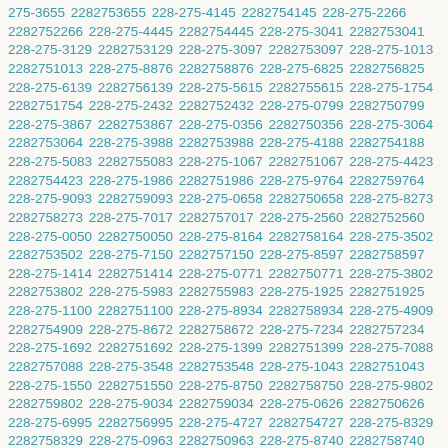275-3655 2282753655 228-275-4145 2282754145 228-275-2266 2282752266 228-275-4445 2282754445 228-275-3041 2282753041 228-275-3129 2282753129 228-275-3097 2282753097 228-275-1013 2282751013 228-275-8876 2282758876 228-275-6825 2282756825 228-275-6139 2282756139 228-275-5615 2282755615 228-275-1754 2282751754 228-275-2432 2282752432 228-275-0799 2282750799 228-275-3867 2282753867 228-275-0356 2282750356 228-275-3064 2282753064 228-275-3988 2282753988 228-275-4188 2282754188 228-275-5083 2282755083 228-275-1067 2282751067 228-275-4423 2282754423 228-275-1986 2282751986 228-275-9764 2282759764 228-275-9093 2282759093 228-275-0658 2282750658 228-275-8273 2282758273 228-275-7017 2282757017 228-275-2560 2282752560 228-275-0050 2282750050 228-275-8164 2282758164 228-275-3502 2282753502 228-275-7150 2282757150 228-275-8597 2282758597 228-275-1414 2282751414 228-275-0771 2282750771 228-275-3802 2282753802 228-275-5983 2282755983 228-275-1925 2282751925 228-275-1100 2282751100 228-275-8934 2282758934 228-275-4909 2282754909 228-275-8672 2282758672 228-275-7234 2282757234 228-275-1692 2282751692 228-275-1399 2282751399 228-275-7088 2282757088 228-275-3548 2282753548 228-275-1043 2282751043 228-275-1550 2282751550 228-275-8750 2282758750 228-275-9802 2282759802 228-275-9034 2282759034 228-275-0626 2282750626 228-275-6995 2282756995 228-275-4727 2282754727 228-275-8329 2282758329 228-275-0963 2282750963 228-275-8740 2282758740 228-275-2027 2282752027 228-275-3433 2282753433 228-275-1279 2282751279 228-275-0707 2282750707 228-275-0832 2282750832 228-275-7748 2282757748 228-275-3824 2282753824 228-275-4369